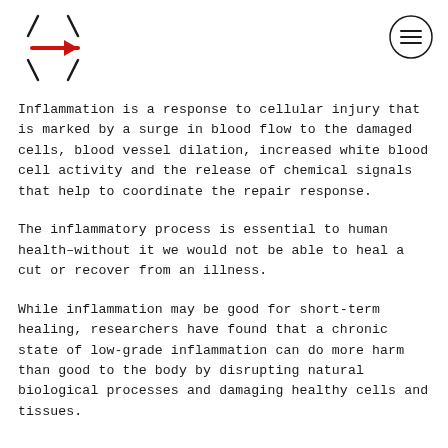[Figure (logo): Website logo with stylized angular brackets and a red arrow, plus a hamburger menu icon on the right]
Inflammation is a response to cellular injury that is marked by a surge in blood flow to the damaged cells, blood vessel dilation, increased white blood cell activity and the release of chemical signals that help to coordinate the repair response.
The inflammatory process is essential to human health–without it we would not be able to heal a cut or recover from an illness.
While inflammation may be good for short-term healing, researchers have found that a chronic state of low-grade inflammation can do more harm than good to the body by disrupting natural biological processes and damaging healthy cells and tissues.